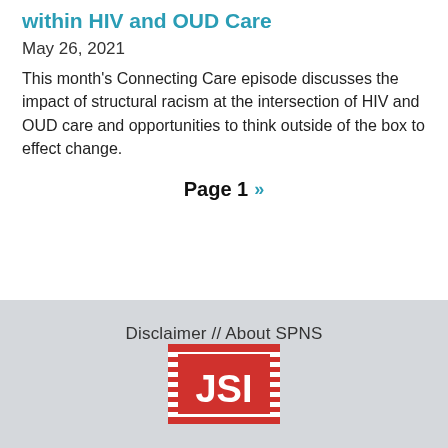within HIV and OUD Care
May 26, 2021
This month's Connecting Care episode discusses the impact of structural racism at the intersection of HIV and OUD care and opportunities to think outside of the box to effect change.
Page 1 »
Disclaimer // About SPNS
[Figure (logo): JSI logo — red rectangle with horizontal white stripes and white text 'JSI']